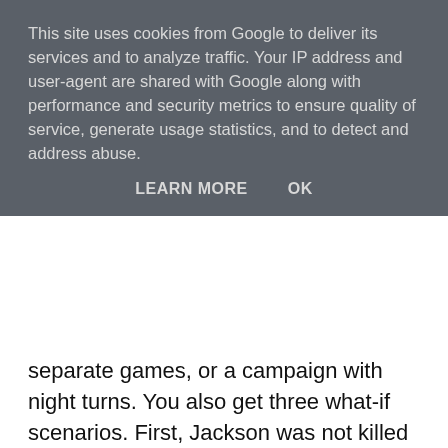This site uses cookies from Google to deliver its services and to analyze traffic. Your IP address and user-agent are shared with Google along with performance and security metrics to ensure quality of service, generate usage statistics, and to detect and address abuse.
LEARN MORE    OK
separate games, or a campaign with night turns. You also get three what-if scenarios. First, Jackson was not killed at Chancellorsville. Second, Jackson was wounded at Chancellorsville, but arrives in time for the battle. Third, J.E.B. Stuart is present at the opening of the festivities. Victory conditions are cut and dried. A Player receives one Victory Point for every enemy piece destroyed. The player with the most points wins. There are a few Gettysburg only